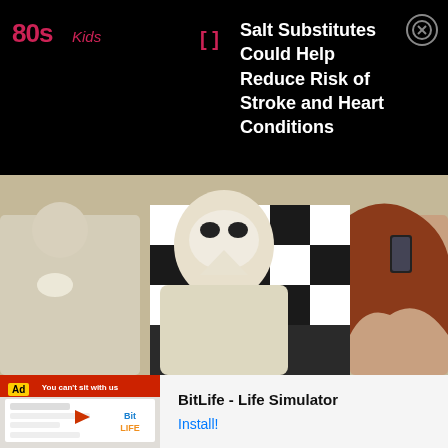[Figure (logo): 80s Kids logo in magenta/pink text with stylized font]
Salt Substitutes Could Help Reduce Risk of Stroke and Heart Conditions
[Figure (photo): Person wearing a white bird/plague doctor mask and white clothing, crouching or sitting. Behind them is a black and white checkered background. To the left is another person in white holding flowers. To the right is a person with long red hair holding a phone.]
[Figure (screenshot): Mobile app advertisement for BitLife - Life Simulator. Shows ad label, app icon screenshot with 'You can't sit with us' text visible, and Install button.]
BitLife - Life Simulator
Install!